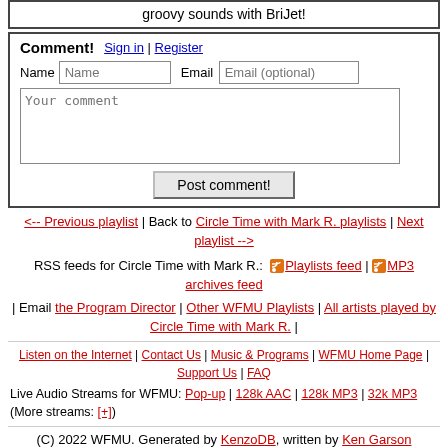groovy sounds with BriJet!
Comment! Sign in | Register
Name [input] Email [input]
[Your comment textarea]
Post comment!
<-- Previous playlist | Back to Circle Time with Mark R. playlists | Next playlist -->
RSS feeds for Circle Time with Mark R.: [icon]Playlists feed | [icon] MP3 archives feed
| Email the Program Director | Other WFMU Playlists | All artists played by Circle Time with Mark R. |
Listen on the Internet | Contact Us | Music & Programs | WFMU Home Page | Support Us | FAQ
Live Audio Streams for WFMU: Pop-up | 128k AAC | 128k MP3 | 32k MP3   (More streams: [+])
(C) 2022 WFMU. Generated by KenzoDB, written by Ken Garson